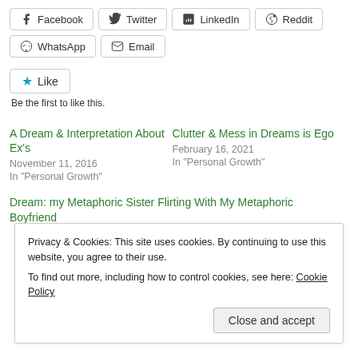Facebook
Twitter
LinkedIn
Reddit
WhatsApp
Email
Like
Be the first to like this.
A Dream & Interpretation About Ex's
November 11, 2016
In "Personal Growth"
Clutter & Mess in Dreams is Ego
February 16, 2021
In "Personal Growth"
Dream: my Metaphoric Sister Flirting With My Metaphoric Boyfriend
Privacy & Cookies: This site uses cookies. By continuing to use this website, you agree to their use.
To find out more, including how to control cookies, see here: Cookie Policy
Close and accept